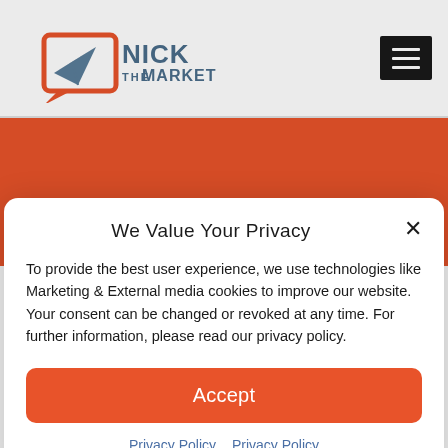[Figure (logo): Nick The Marketer logo with paper airplane icon in orange speech bubble and dark grey text]
[Figure (illustration): Hamburger menu icon (three horizontal white lines on black background)]
BLOG
We Value Your Privacy
To provide the best user experience, we use technologies like Marketing & External media cookies to improve our website. Your consent can be changed or revoked at any time. For further information, please read our privacy policy.
Accept
Privacy Policy   Privacy Policy